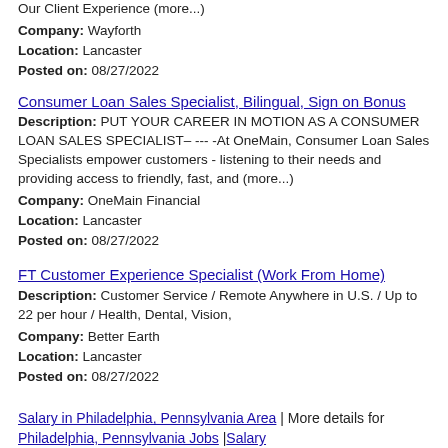Our Client Experience (more...)
Company: Wayforth
Location: Lancaster
Posted on: 08/27/2022
Consumer Loan Sales Specialist, Bilingual, Sign on Bonus
Description: PUT YOUR CAREER IN MOTION AS A CONSUMER LOAN SALES SPECIALIST– --- -At OneMain, Consumer Loan Sales Specialists empower customers - listening to their needs and providing access to friendly, fast, and (more...)
Company: OneMain Financial
Location: Lancaster
Posted on: 08/27/2022
FT Customer Experience Specialist (Work From Home)
Description: Customer Service / Remote Anywhere in U.S. / Up to 22 per hour / Health, Dental, Vision,
Company: Better Earth
Location: Lancaster
Posted on: 08/27/2022
Salary in Philadelphia, Pennsylvania Area | More details for Philadelphia, Pennsylvania Jobs |Salary